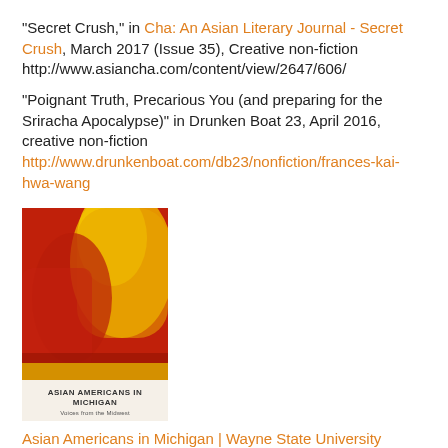"Secret Crush," in Cha: An Asian Literary Journal - Secret Crush, March 2017 (Issue 35), Creative non-fiction http://www.asiancha.com/content/view/2647/606/
"Poignant Truth, Precarious You (and preparing for the Sriracha Apocalypse)" in Drunken Boat 23, April 2016, creative non-fiction http://www.drunkenboat.com/db23/nonfiction/frances-kai-hwa-wang
[Figure (photo): Book cover of 'Asian Americans in Michigan: Voices from the Midwest', showing abstract red and yellow/orange brushstroke art on cover, published by Wayne State University Press]
Asian Americans in Michigan | Wayne State University Press...